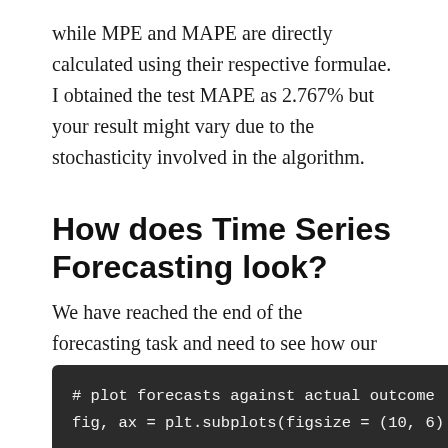while MPE and MAPE are directly calculated using their respective formulae. I obtained the test MAPE as 2.767% but your result might vary due to the stochasticity involved in the algorithm.
How does Time Series Forecasting look?
We have reached the end of the forecasting task and need to see how our predicted forecasts look. We plot the results using matplotlib again.
[Figure (screenshot): Dark-themed code block showing Python code: '# plot forecasts against actual outcome' and 'fig, ax = plt.subplots(figsize = (10, 6)']